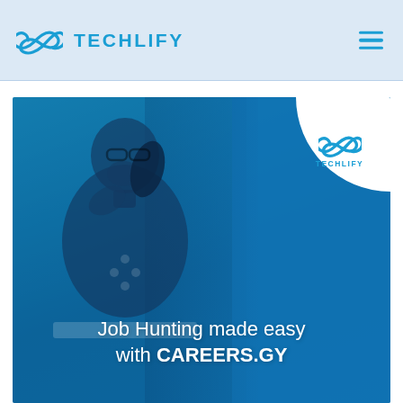TECHLIFY
[Figure (screenshot): Promotional banner image showing a person sitting at a laptop with a blue overlay. Text reads 'Job Hunting made easy with CAREERS.GY'. A Techlify logo badge appears in the top-right corner of the banner.]